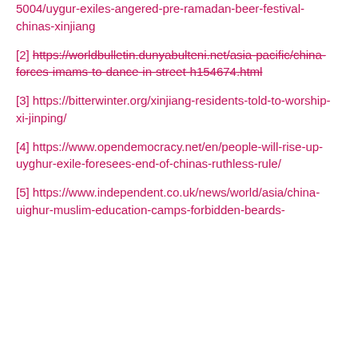5004/uygur-exiles-angered-pre-ramadan-beer-festival-chinas-xinjiang
[2] https://worldbulletin.dunyabulteni.net/asia-pacific/china-forces-imams-to-dance-in-street-h154674.html (strikethrough)
[3] https://bitterwinter.org/xinjiang-residents-told-to-worship-xi-jinping/
[4] https://www.opendemocracy.net/en/people-will-rise-up-uyghur-exile-foresees-end-of-chinas-ruthless-rule/
[5] https://www.independent.co.uk/news/world/asia/china-uighur-muslim-education-camps-forbidden-beards-